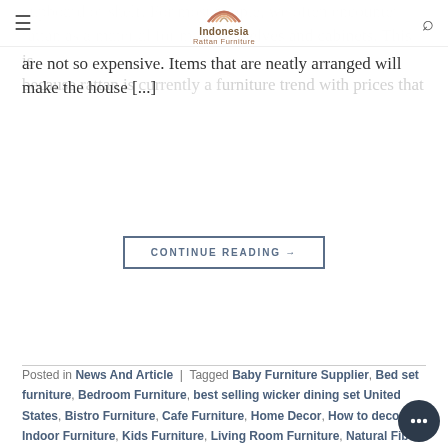Indonesia Rattan Furniture — navigation bar with hamburger menu and search icon
cupboard or shelf. For most people, we often encounter rattan as a material for making shelves and cabinets. This is because rattan is currently a furniture trend with prices that are not so expensive. Items that are neatly arranged will make the house [...]
CONTINUE READING →
Posted in News And Article | Tagged Baby Furniture Supplier, Bed set furniture, Bedroom Furniture, best selling wicker dining set United States, Bistro Furniture, Cafe Furniture, Home Decor, How to decor, Indoor Furniture, Kids Furniture, Living Room Furniture, Natural Fiber Furniture, Natural Rattan, Outdoor Furniture, Rattan Furniture, Rattan Furniture Hongkong, rattan sofa, Recommendations cabinet in United Kingdom, Wicker Furniture
Leave a comment
NEWS AND ARTICLE
5 Rattan Craft Ideas for Room Decoration